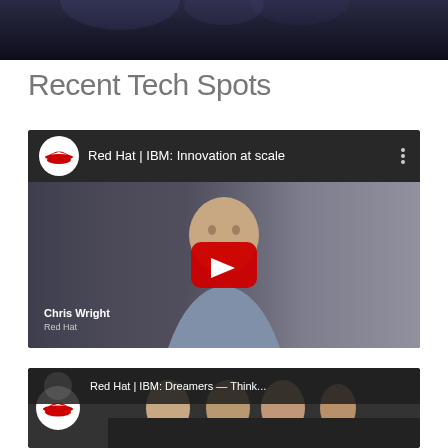[Figure (screenshot): Top portion of a video thumbnail showing a dark concert or event scene]
Recent Tech Spots
[Figure (screenshot): YouTube video embed: Red Hat | IBM: Innovation at scale, featuring Chris Wright from Red Hat with a YouTube play button overlay]
[Figure (screenshot): Partial YouTube video embed: Red Hat | IBM: Dreamers — Think... with Red Hat logo visible and multiple people in the thumbnail]